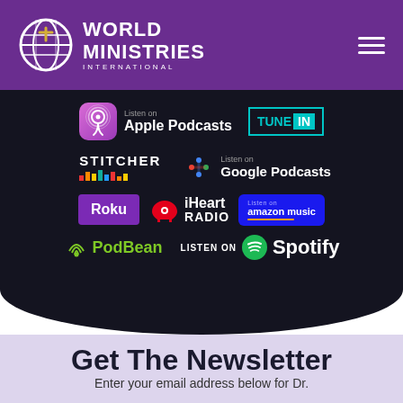[Figure (logo): World Ministries International logo with globe icon and hamburger menu on purple header]
[Figure (screenshot): Podcast platform badges on dark background: Apple Podcasts, TuneIn, Stitcher, Google Podcasts, Roku, iHeart Radio, Amazon Music, PodBean, Spotify]
Get The Newsletter
Enter your email address below for Dr.